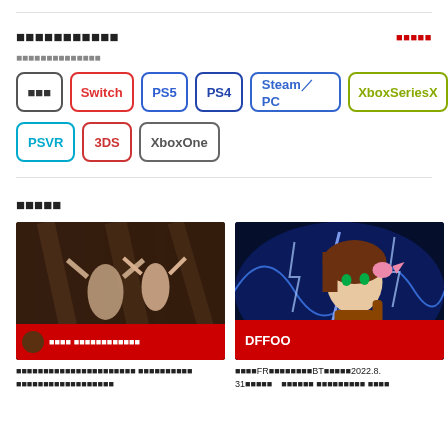■■■■■■■■■■■
■■■■■
■■■■■■■■■■■■■■
■■■ / Switch / PS5 / PS4 / Steam／PC / XboxSeriesX
PSVR / 3DS / XboxOne
■■■■■
[Figure (photo): Dark scene with two figures raising arms]
■■■■■■■■■■■■■■■■■■■■■■ ■■■■■■■■■■ ■■■■■■■■■■■■■■■■■■
[Figure (photo): Anime character with blue lightning background, labeled DFFOO]
■■■■FR■■■■■■■■BT■■■■■2022.8.31■■■■■　■■■■■■ ■■■■■■■■■ ■■■■